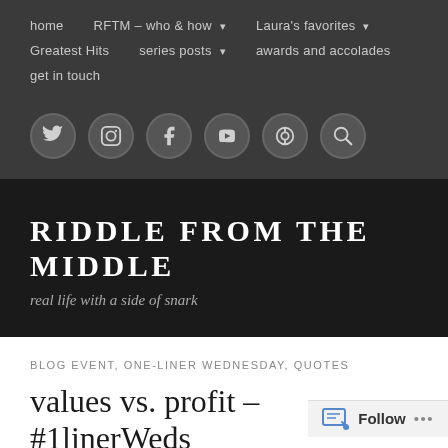home | RFTM – who & how ▾ | Laura's favorites ▾ | Greatest Hits | series posts ▾ | awards and accolades | get in touch
[Figure (illustration): Six circular social media icon buttons: Twitter, Instagram, Facebook, Tumblr, Pinterest, Search]
RIDDLE FROM THE MIDDLE
real life with a side of snark
BLOG EVENT, ONE-LINER WEDNESDAY, QUOTES
values vs. profit – #1linerWeds
Follow ...